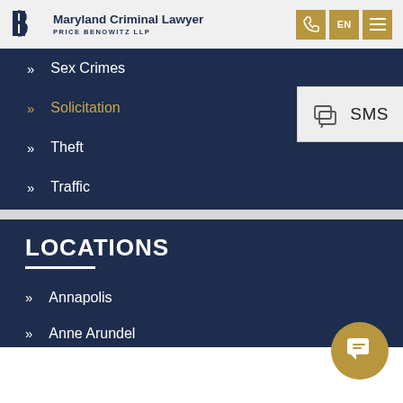Maryland Criminal Lawyer | PRICE BENOWITZ LLP
Sex Crimes
Solicitation
Theft
Traffic
[Figure (screenshot): SMS popup overlay with chat icon and SMS label]
LOCATIONS
Annapolis
Anne Arundel
[Figure (illustration): Golden circular chat bubble button in lower right corner]